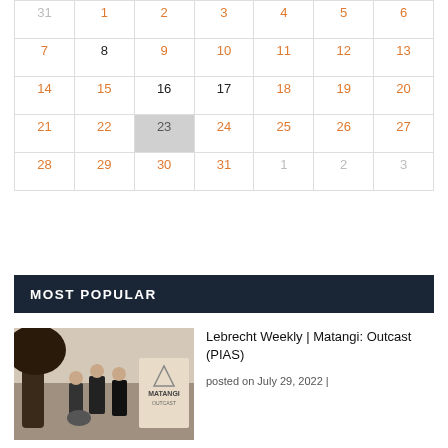| 31 | 1 | 2 | 3 | 4 | 5 | 6 |
| 7 | 8 | 9 | 10 | 11 | 12 | 13 |
| 14 | 15 | 16 | 17 | 18 | 19 | 20 |
| 21 | 22 | 23 | 24 | 25 | 26 | 27 |
| 28 | 29 | 30 | 31 | 1 | 2 | 3 |
MOST POPULAR
[Figure (photo): Black and white photo of a music group (Matangi: Outcast) posing outdoors near a large tree, with an album cover visible on the right side.]
Lebrecht Weekly | Matangi: Outcast (PIAS)
posted on July 29, 2022 |